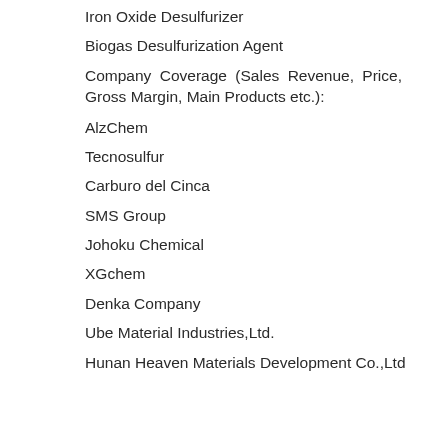Iron Oxide Desulfurizer
Biogas Desulfurization Agent
Company Coverage (Sales Revenue, Price, Gross Margin, Main Products etc.):
AlzChem
Tecnosulfur
Carburo del Cinca
SMS Group
Johoku Chemical
XGchem
Denka Company
Ube Material Industries,Ltd.
Hunan Heaven Materials Development Co.,Ltd